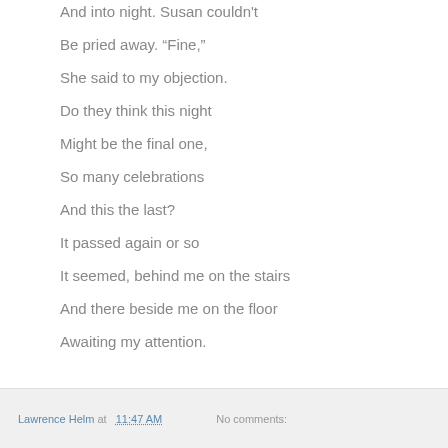And into night.  Susan couldn't
Be pried away.  “Fine,”
She said to my objection.
Do they think this night
Might be the final one,
So many celebrations
And this the last?
It passed again or so
It seemed, behind me on the stairs
And there beside me on the floor
Awaiting my attention.
Lawrence Helm at 11:47 AM   No comments: